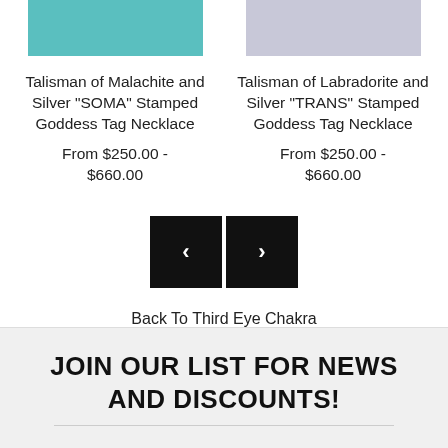[Figure (photo): Partial product photo of teal/malachite necklace item on left]
[Figure (photo): Partial product photo of silver/labradorite necklace item on right]
Talisman of Malachite and Silver "SOMA" Stamped Goddess Tag Necklace
From $250.00 - $660.00
Talisman of Labradorite and Silver "TRANS" Stamped Goddess Tag Necklace
From $250.00 - $660.00
[Figure (other): Previous and next navigation buttons (left arrow and right arrow) in black squares]
Back To Third Eye Chakra
JOIN OUR LIST FOR NEWS AND DISCOUNTS!